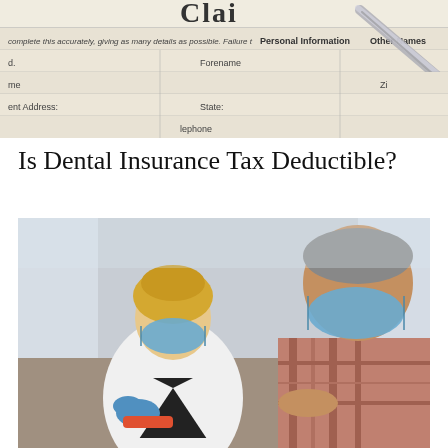[Figure (photo): Close-up photograph of an insurance claim form with a pen resting on it, showing fields for Personal Information including Forename, Other Names, State, and Telephone, with partial text 'Claim' visible at top]
Is Dental Insurance Tax Deductible?
[Figure (photo): Photograph of a female dentist in white lab coat and blue gloves wearing a face mask, examining something with a male patient who is also wearing a face mask, in a dental office setting]